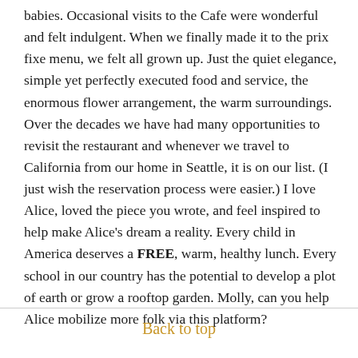babies. Occasional visits to the Cafe were wonderful and felt indulgent. When we finally made it to the prix fixe menu, we felt all grown up. Just the quiet elegance, simple yet perfectly executed food and service, the enormous flower arrangement, the warm surroundings. Over the decades we have had many opportunities to revisit the restaurant and whenever we travel to California from our home in Seattle, it is on our list. (I just wish the reservation process were easier.) I love Alice, loved the piece you wrote, and feel inspired to help make Alice's dream a reality. Every child in America deserves a FREE, warm, healthy lunch. Every school in our country has the potential to develop a plot of earth or grow a rooftop garden. Molly, can you help Alice mobilize more folk via this platform?
Back to top